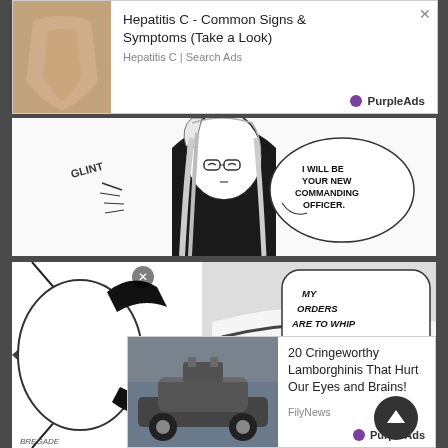[Figure (screenshot): Advertisement: Hepatitis C - Common Signs & Symptoms (Take a Look) - Hepatitis C | Search Ads - PurpleAds, with a medical/body image on the left]
[Figure (illustration): Manga panel showing a woman with glasses and long hair saying 'I WILL BE YOUR NEW COMMANDING OFFICER.' with 'GLINT' sound effect]
[Figure (illustration): Manga panel showing action scene with text 'MY ORDERS ARE TO WHIP YOU INTO A FIRST-RATE' and 'PREGADE' label]
[Figure (screenshot): Advertisement: 20 Cringeworthy Lamborghinis That Hurt Our Eyes and Brains! - FilyNews - PurpleAds, with a race car image]